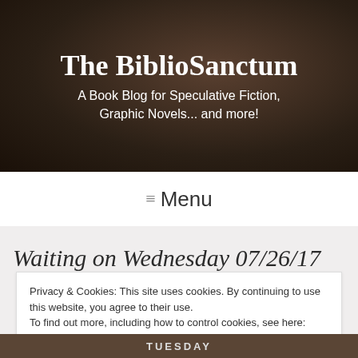The BiblioSanctum
A Book Blog for Speculative Fiction, Graphic Novels... and more!
≡ Menu
Waiting on Wednesday 07/26/17
Privacy & Cookies: This site uses cookies. By continuing to use this website, you agree to their use.
To find out more, including how to control cookies, see here: Cookie Policy
Close and accept
[Figure (photo): Partial view of a book or calendar showing the word TUESDAY at the bottom of the page]